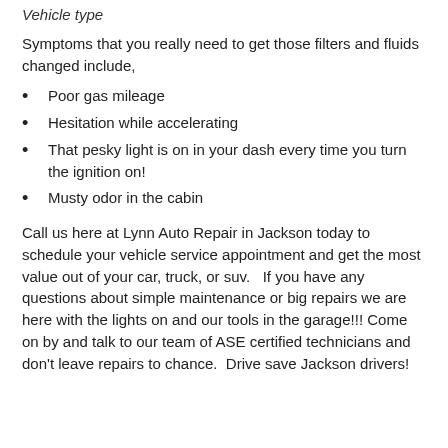Vehicle type
Symptoms that you really need to get those filters and fluids changed include,
Poor gas mileage
Hesitation while accelerating
That pesky light is on in your dash every time you turn the ignition on!
Musty odor in the cabin
Call us here at Lynn Auto Repair in Jackson today to schedule your vehicle service appointment and get the most value out of your car, truck, or suv.   If you have any questions about simple maintenance or big repairs we are here with the lights on and our tools in the garage!!! Come on by and talk to our team of ASE certified technicians and don't leave repairs to chance.  Drive save Jackson drivers!